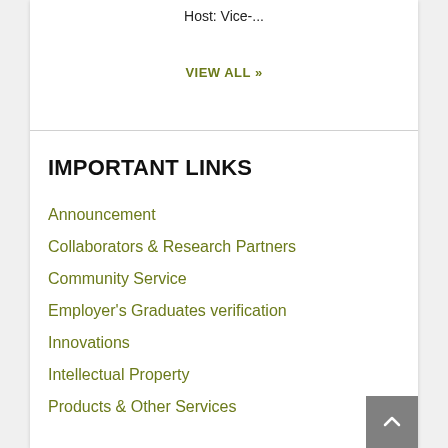Host: Vice-...
VIEW ALL »
IMPORTANT LINKS
Announcement
Collaborators & Research Partners
Community Service
Employer's Graduates verification
Innovations
Intellectual Property
Products & Other Services